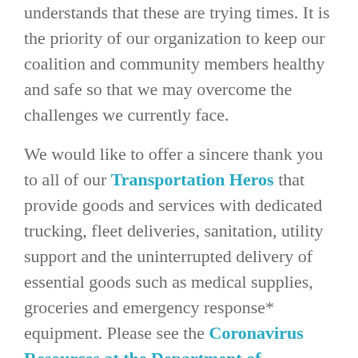understands that these are trying times. It is the priority of our organization to keep our coalition and community members healthy and safe so that we may overcome the challenges we currently face.
We would like to offer a sincere thank you to all of our Transportation Heros that provide goods and services with dedicated trucking, fleet deliveries, sanitation, utility support and the uninterrupted delivery of essential goods such as medical supplies, groceries and emergency response* equipment. Please see the Coronavirus Resources at the Department of Transportation and the information hub at